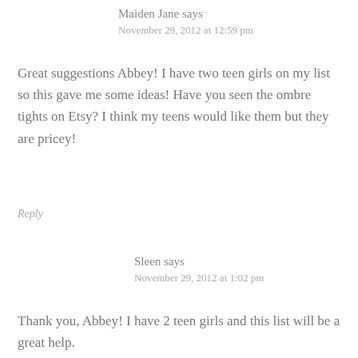Maiden Jane says
November 29, 2012 at 12:59 pm
Great suggestions Abbey! I have two teen girls on my list so this gave me some ideas! Have you seen the ombre tights on Etsy? I think my teens would like them but they are pricey!
Reply
Sleen says
November 29, 2012 at 1:02 pm
Thank you, Abbey! I have 2 teen girls and this list will be a great help.